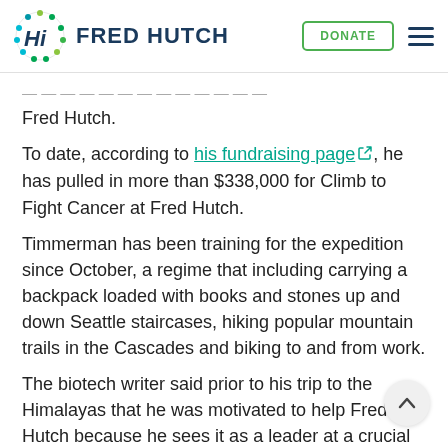FRED HUTCH
Fred Hutch.
To date, according to his fundraising page, he has pulled in more than $338,000 for Climb to Fight Cancer at Fred Hutch.
Timmerman has been training for the expedition since October, a regime that including carrying a backpack loaded with books and stones up and down Seattle staircases, hiking popular mountain trails in the Cascades and biking to and from work.
The biotech writer said prior to his trip to the Himalayas that he was motivated to help Fred Hutch because he sees it as a leader at a crucial